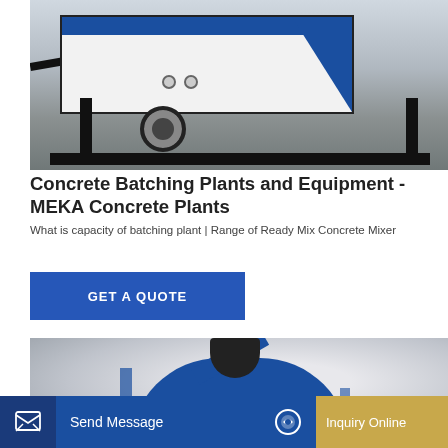[Figure (photo): Concrete batching plant trailer — white and blue rectangular enclosure mounted on a wheeled trailer frame with black steel legs and hitch, photographed outdoors on gravel]
Concrete Batching Plants and Equipment - MEKA Concrete Plants
What is capacity of batching plant | Range of Ready Mix Concrete Mixer
[Figure (photo): Close-up of a blue concrete mixer drum mechanism with black hopper/cup and arm components, gray gradient background]
GET A QUOTE
Send Message
Inquiry Online